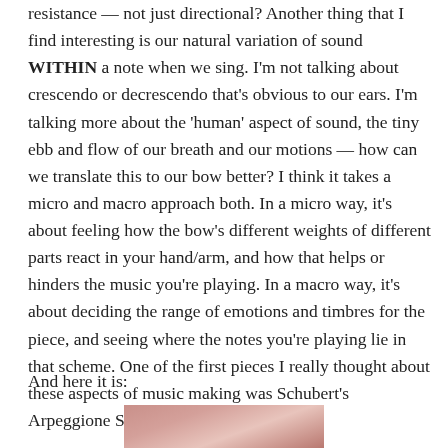resistance — not just directional? Another thing that I find interesting is our natural variation of sound WITHIN a note when we sing. I'm not talking about crescendo or decrescendo that's obvious to our ears. I'm talking more about the 'human' aspect of sound, the tiny ebb and flow of our breath and our motions — how can we translate this to our bow better? I think it takes a micro and macro approach both. In a micro way, it's about feeling how the bow's different weights of different parts react in your hand/arm, and how that helps or hinders the music you're playing. In a macro way, it's about deciding the range of emotions and timbres for the piece, and seeing where the notes you're playing lie in that scheme. One of the first pieces I really thought about these aspects of music making was Schubert's Arpeggione Sonata. Enjoy the clip...!"
And here it is:
[Figure (photo): Partial photo showing what appears to be a musical instrument or hands, cropped at the bottom of the page, with warm pink and brown tones.]